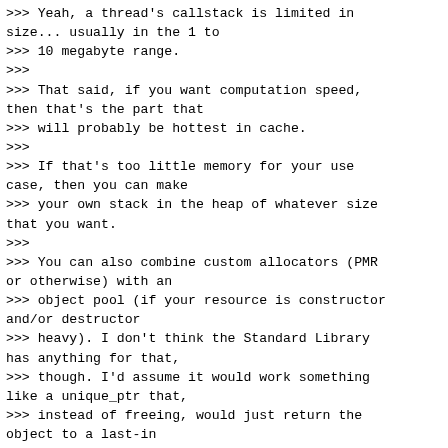>>>
>>> Yeah, a thread's callstack is limited in size... usually in the 1 to
>>> 10 megabyte range.
>>>
>>> That said, if you want computation speed, then that's the part that
>>> will probably be hottest in cache.
>>>
>>> If that's too little memory for your use case, then you can make
>>> your own stack in the heap of whatever size that you want.
>>>
>>> You can also combine custom allocators (PMR or otherwise) with an
>>> object pool (if your resource is constructor and/or destructor
>>> heavy). I don't think the Standard Library has anything for that,
>>> though. I'd assume it would work something like a unique_ptr that,
>>> instead of freeing, would just return the object to a last-in
>>> first-out list. Not sure how many objects